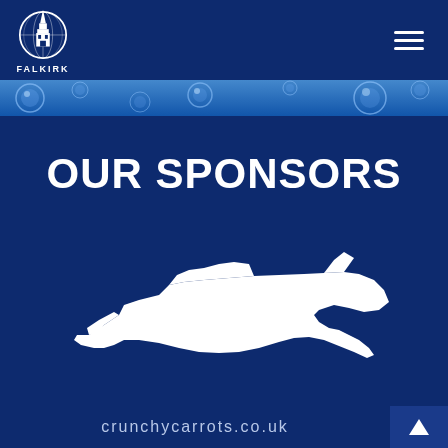[Figure (logo): Falkirk FC logo — circular badge with church spire, white on dark navy, with text FALKIRK below]
[Figure (illustration): Decorative blue bubble banner strip across the top of the page]
OUR SPONSORS
[Figure (logo): Crunchy Carrots sponsor logo — white silhouette of a carrot-shaped fighter jet on dark navy background]
crunchycarrots.co.uk